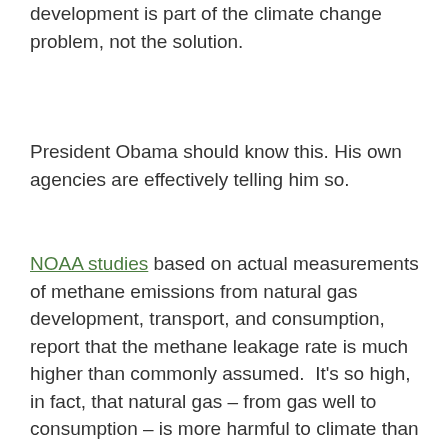development is part of the climate change problem, not the solution.
President Obama should know this. His own agencies are effectively telling him so.
NOAA studies based on actual measurements of methane emissions from natural gas development, transport, and consumption, report that the methane leakage rate is much higher than commonly assumed.  It's so high, in fact, that natural gas – from gas well to consumption – is more harmful to climate than coal because methane is a much more